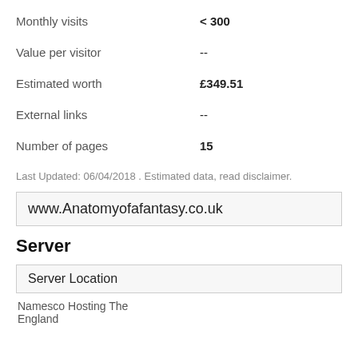|  |  |
| --- | --- |
| Monthly visits | < 300 |
| Value per visitor | -- |
| Estimated worth | £349.51 |
| External links | -- |
| Number of pages | 15 |
Last Updated: 06/04/2018 . Estimated data, read disclaimer.
www.Anatomyofafantasy.co.uk
Server
Server Location
Namesco Hosting The England